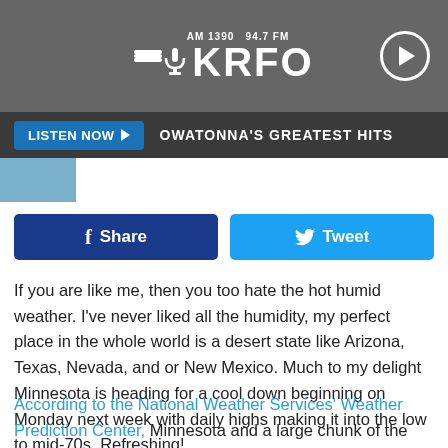[Figure (logo): KRFO AM 1390 94.7 FM radio station logo with microphone icon, hamburger menu icon on left, play button on right, on grey background]
LISTEN NOW ▶  OWATONNA'S GREATEST HITS
[Figure (other): Facebook Share button and Twitter Tweet button]
If you are like me, then you too hate the hot humid weather. I've never liked all the humidity, my perfect place in the whole world is a desert state like Arizona, Texas, Nevada, and or New Mexico. Much to my delight Minnesota is heading for a cool down beginning on Monday next week with daily highs making it into the low to mid-70s. Refreshing!
According to the National Weather Services' Weather Prediction Center, Minnesota and a large chunk of the midwest is going to be cooling off just in time for the